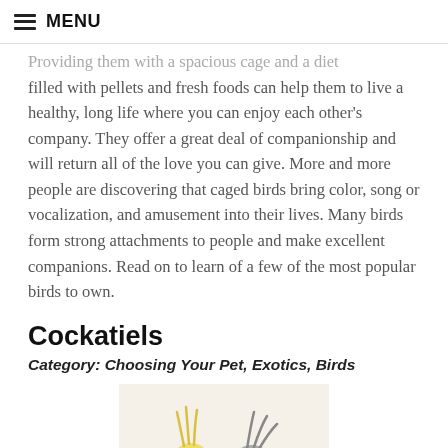☰ MENU
Providing them with a spacious cage and a diet filled with pellets and fresh foods can help them to live a healthy, long life where you can enjoy each other's company. They offer a great deal of companionship and will return all of the love you can give. More and more people are discovering that caged birds bring color, song or vocalization, and amusement into their lives. Many birds form strong attachments to people and make excellent companions. Read on to learn of a few of the most popular birds to own.
Cockatiels
Category: Choosing Your Pet, Exotics, Birds
[Figure (photo): Two cockatiels perched on a branch — one yellow/white with orange cheek patch, one grey with orange cheek patch]
Cockatiels are among the most popular pet birds